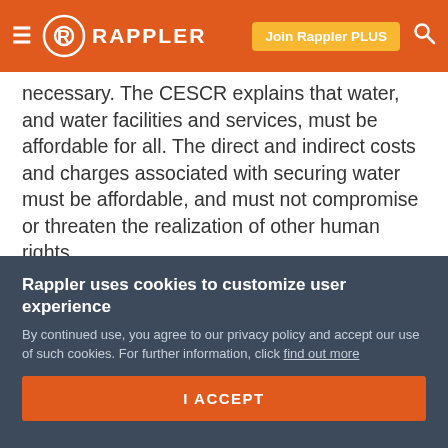≡  R RAPPLER    Join Rappler PLUS  🔍
necessary. The CESCR explains that water, and water facilities and services, must be affordable for all. The direct and indirect costs and charges associated with securing water must be affordable, and must not compromise or threaten the realization of other human rights.
If the private entities are unable to fulfill their public service obligation of providing safe, clean, accessible, and affordable water, the government may be held accountable for any consequences from the outsourcing that are non-
Rappler uses cookies to customize user experience
By continued use, you agree to our privacy policy and accept our use of such cookies. For further information, click find out more
I ACCEPT